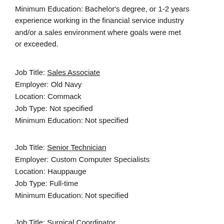Minimum Education: Bachelor's degree, or 1-2 years experience working in the financial service industry and/or a sales environment where goals were met or exceeded.
Job Title: Sales Associate
Employer: Old Navy
Location: Commack
Job Type: Not specified
Minimum Education: Not specified
Job Title: Senior Technician
Employer: Custom Computer Specialists
Location: Hauppauge
Job Type: Full-time
Minimum Education: Not specified
Job Title: Surgical Coordinator
Employer: SightMD
Location: Smithtown